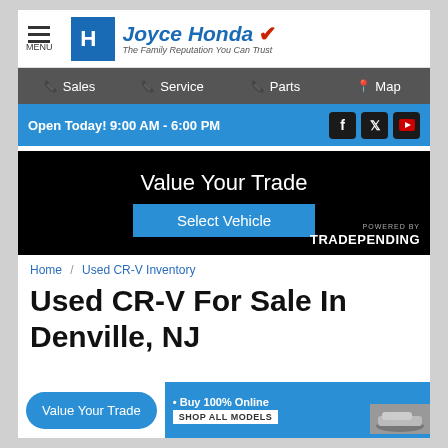Joyce Honda — The Family Reputation You Can Trust
Sales | Service | Parts | Map
Open Today! 9:00 AM - 6:00 PM
[Figure (screenshot): Value Your Trade widget with Select Vehicle button and POWERED BY TRADEPENDING branding]
Home / Used CR-V Inventory
Used CR-V For Sale In Denville, NJ
Value Your Trade
• Buy 100% Online